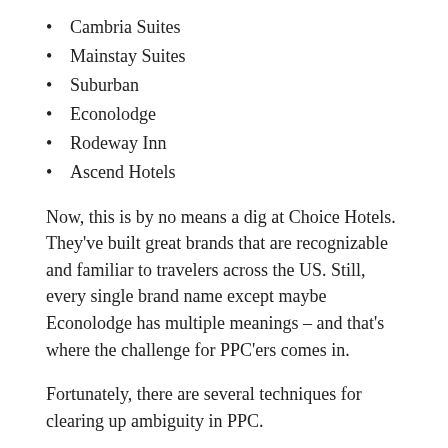Cambria Suites
Mainstay Suites
Suburban
Econolodge
Rodeway Inn
Ascend Hotels
Now, this is by no means a dig at Choice Hotels. They’ve built great brands that are recognizable and familiar to travelers across the US. Still, every single brand name except maybe Econolodge has multiple meanings – and that’s where the challenge for PPC’ers comes in.
Fortunately, there are several techniques for clearing up ambiguity in PPC.
Don’t Bid on One-Word Keywords